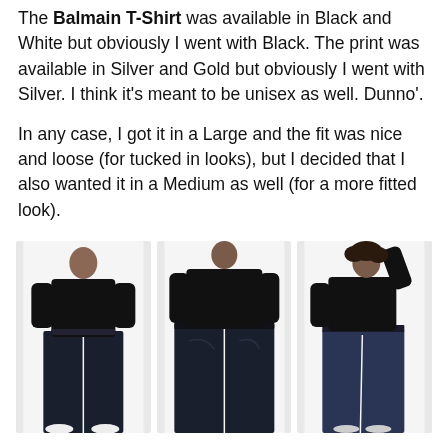The Balmain T-Shirt was available in Black and White but obviously I went with Black. The print was available in Silver and Gold but obviously I went with Silver. I think it's meant to be unisex as well. Dunno'.
In any case, I got it in a Large and the fit was nice and loose (for tucked in looks), but I decided that I also wanted it in a Medium as well (for a more fitted look).
[Figure (photo): Three fashion photos of a model wearing a black long-sleeve top tucked into wide-leg dark denim jeans: left photo shows full-length front view with white sneakers, center photo shows back/side view, right photo shows a posed three-quarter view.]